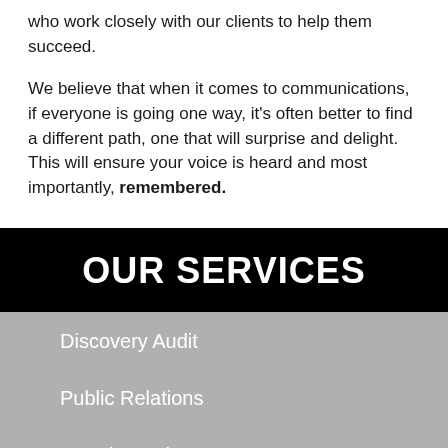who work closely with our clients to help them succeed.
We believe that when it comes to communications, if everyone is going one way, it's often better to find a different path, one that will surprise and delight.  This will ensure your voice is heard and most importantly, remembered.
OUR SERVICES
Discovery Audit
Public Relations
Brand Development
Advertorial Marketing